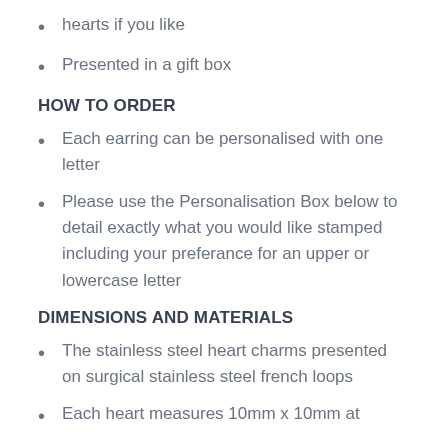hearts if you like
Presented in a gift box
HOW TO ORDER
Each earring can be personalised with one letter
Please use the Personalisation Box below to detail exactly what you would like stamped including your preferance for an upper or lowercase letter
DIMENSIONS AND MATERIALS
The stainless steel heart charms presented on surgical stainless steel french loops
Each heart measures 10mm x 10mm at